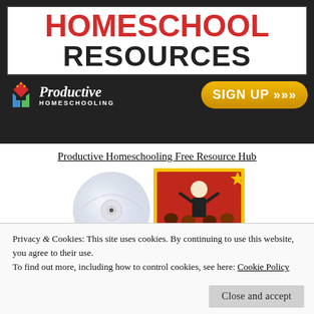[Figure (illustration): Homeschool Resources banner ad with red HOMESCHOOL text, black RESOURCES text, Productive Homeschooling logo, and yellow SIGN UP button with arrows]
Productive Homeschooling Free Resource Hub
[Figure (illustration): CD disc and Maestro Classics book/DVD product image]
Privacy & Cookies: This site uses cookies. By continuing to use this website, you agree to their use.
To find out more, including how to control cookies, see here: Cookie Policy
Close and accept
[Figure (illustration): Partial product image at bottom of page]